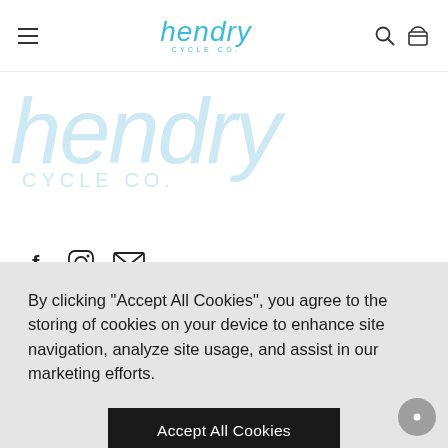hendry CYCLE Co. — navigation bar with menu, logo, search and basket icons
[Figure (logo): Large light-blue watermark of 'hendry CYCLE Co.' logo in the upper-left background area]
[Figure (other): Social media icons: Facebook (f), Instagram (camera circle), Email (envelope)]
By clicking "Accept All Cookies", you agree to the storing of cookies on your device to enhance site navigation, analyze site usage, and assist in our marketing efforts.
Accept All Cookies